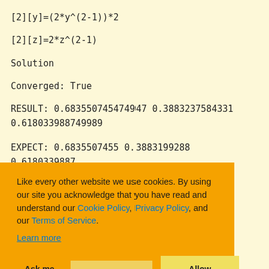[2][y]=(2*y^(2-1))*2
[2][z]=2*z^(2-1)
Solution
Converged: True
RESULT:  0.683550745474947 0.3883237584331 0.618033988749989
EXPECT:  0.6835507455 0.3883199288 0.6180339887
...d precision of
...o shows the
...lculated for the
Like every other website we use cookies. By using our site you acknowledge that you have read and understand our Cookie Policy, Privacy Policy, and our Terms of Service.
Learn more
Ask me later | Decline | Allow cookies